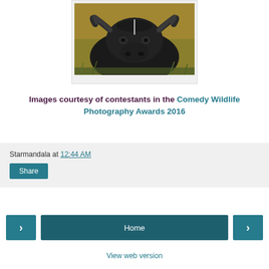[Figure (photo): Close-up photograph of a Cape buffalo (African buffalo) facing the camera with large curved horns, dark fur, and a golden grass background. There appears to be a small white streak on the buffalo's forehead between its horns.]
Images courtesy of contestants in the Comedy Wildlife Photography Awards 2016
Starmandala at 12:44 AM
Share
Home
View web version